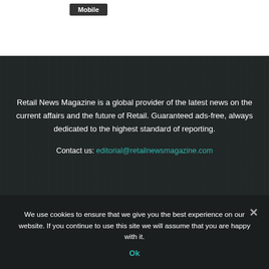Mobile
Retail News Magazine is a global provider of the latest news on the current affairs and the future of Retail. Guaranteed ads-free, always dedicated to the highest standard of reporting.

Contact us: editorial@retailnewsmagazine.com
We use cookies to ensure that we give you the best experience on our website. If you continue to use this site we will assume that you are happy with it.

Ok